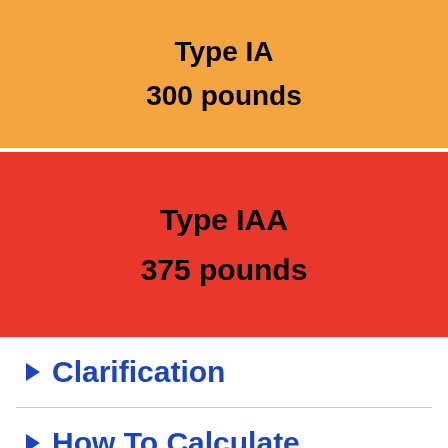Type IA
300 pounds
Type IAA
375 pounds
Clarification
How To Calculate